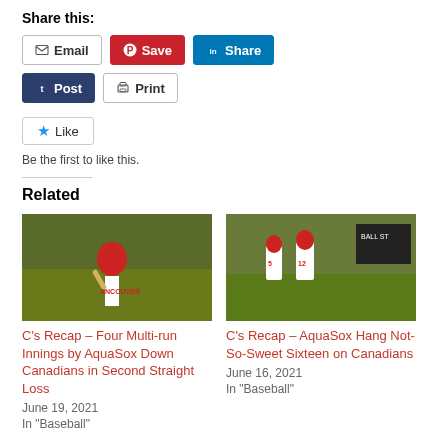Share this:
[Figure (screenshot): Social sharing buttons: Email, Save (Pinterest), Share (LinkedIn), Post (Tumblr), Print]
[Figure (screenshot): Like button with star icon and text 'Be the first to like this.']
Related
[Figure (photo): Baseball player in red helmet holding a bat, Vancouver Canadians uniform]
C’s Recap – Four Multi-run Innings by AquaSox Down Canadians in Second Straight Loss
June 19, 2021
In “Baseball”
[Figure (photo): Baseball players on field, Canadians #12 walking, scoreboard visible in background]
C’s Recap – AquaSox Hang Not-So-Sweet Sixteen on Canadians
June 16, 2021
In “Baseball”